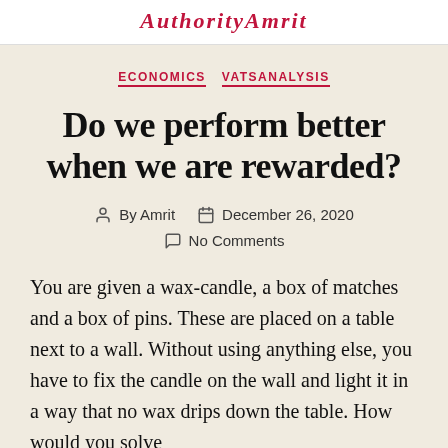AuthorityAmrit
ECONOMICS  VATSANALYSIS
Do we perform better when we are rewarded?
By Amrit   December 26, 2020   No Comments
You are given a wax-candle, a box of matches and a box of pins. These are placed on a table next to a wall. Without using anything else, you have to fix the candle on the wall and light it in a way that no wax drips down the table. How would you solve